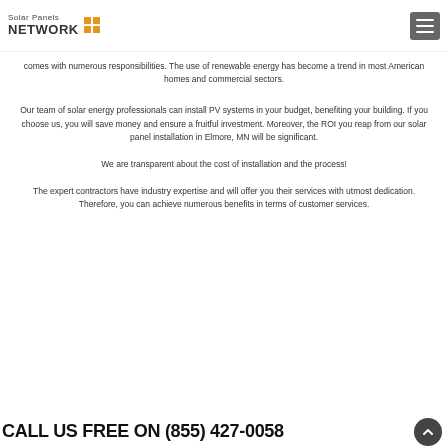Solar Panels NETWORK
comes with numerous responsibilities. The use of renewable energy has become a trend in most American homes and commercial sectors.
Our team of solar energy professionals can install PV systems in your budget, benefiting your building. If you choose us, you will save money and ensure a fruitful investment. Moreover, the ROI you reap from our solar panel installation in Elmore, MN will be significant.
We are transparent about the cost of installation and the process!
The expert contractors have industry expertise and will offer you their services with utmost dedication. Therefore, you can achieve numerous benefits in terms of customer services.
CALL US FREE ON (855) 427-0058